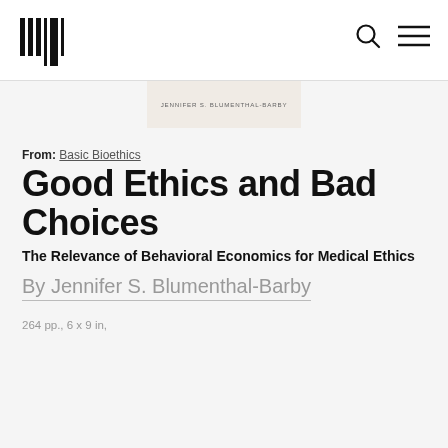MIT Press logo, search icon, menu icon
[Figure (illustration): Book cover card showing author name JENNIFER S. BLUMENTHAL-BARBY in small caps on a light beige background]
From: Basic Bioethics
Good Ethics and Bad Choices
The Relevance of Behavioral Economics for Medical Ethics
By Jennifer S. Blumenthal-Barby
264 pp., 6 x 9 in,